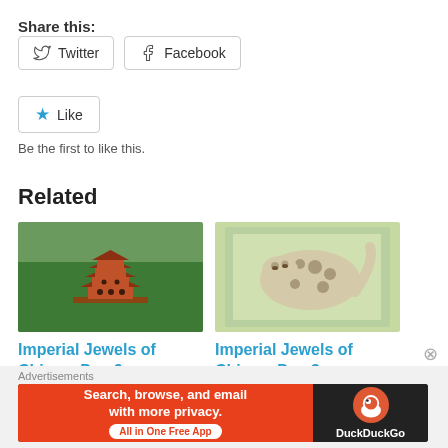Share this:
Twitter  Facebook
[Figure (other): Like button with blue star icon and text 'Like']
Be the first to like this.
Related
[Figure (photo): Photo of a multi-story Chinese pagoda building surrounded by green trees]
Imperial Jewels of China – Day 9 –
[Figure (photo): Photo of a snow leopard on a green background, possibly a stamp or print]
Imperial Jewels of China – Day 3 –
Advertisements
[Figure (infographic): DuckDuckGo advertisement banner: 'Search, browse, and email with more privacy. All in One Free App' with DuckDuckGo logo on right]